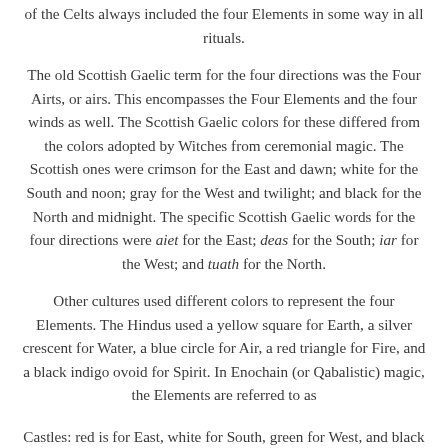of the Celts always included the four Elements in some way in all rituals.
The old Scottish Gaelic term for the four directions was the Four Airts, or airs. This encompasses the Four Elements and the four winds as well. The Scottish Gaelic colors for these differed from the colors adopted by Witches from ceremonial magic. The Scottish ones were crimson for the East and dawn; white for the South and noon; gray for the West and twilight; and black for the North and midnight. The specific Scottish Gaelic words for the four directions were aiet for the East; deas for the South; iar for the West; and tuath for the North.
Other cultures used different colors to represent the four Elements. The Hindus used a yellow square for Earth, a silver crescent for Water, a blue circle for Air, a red triangle for Fire, and a black indigo ovoid for Spirit. In Enochain (or Qabalistic) magic, the Elements are referred to as
Castles: red is for East, white for South, green for West, and black for North.